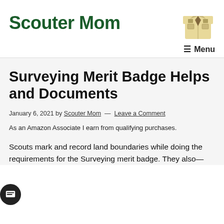Scouter Mom
[Figure (illustration): Illustration of a Boy Scout uniform shirt (tan/khaki) with patches]
Menu
Surveying Merit Badge Helps and Documents
January 6, 2021 by Scouter Mom — Leave a Comment
As an Amazon Associate I earn from qualifying purchases.
Scouts mark and record land boundaries while doing the requirements for the Surveying merit badge. They also—